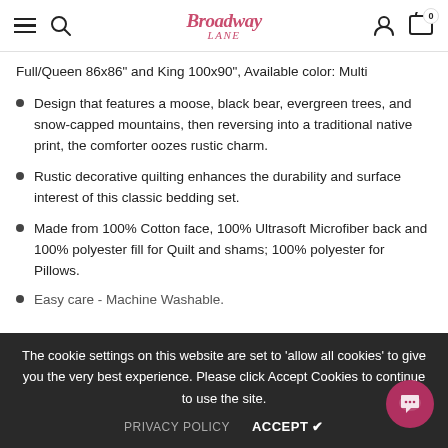Broadway Lane - navigation header with hamburger menu, search, logo, profile, and cart (0)
Full/Queen 86x86" and King 100x90", Available color: Multi
Design that features a moose, black bear, evergreen trees, and snow-capped mountains, then reversing into a traditional native print, the comforter oozes rustic charm.
Rustic decorative quilting enhances the durability and surface interest of this classic bedding set.
Made from 100% Cotton face, 100% Ultrasoft Microfiber back and 100% polyester fill for Quilt and shams; 100% polyester for Pillows.
Easy care - Machine Washable.
The cookie settings on this website are set to 'allow all cookies' to give you the very best experience. Please click Accept Cookies to continue to use the site.
PRIVACY POLICY   ACCEPT ✔